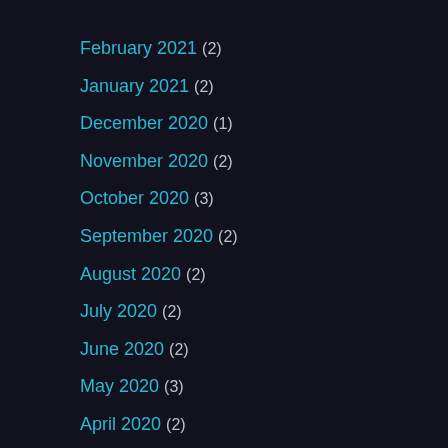February 2021 (2)
January 2021 (2)
December 2020 (1)
November 2020 (2)
October 2020 (3)
September 2020 (2)
August 2020 (2)
July 2020 (2)
June 2020 (2)
May 2020 (3)
April 2020 (2)
March 2020 (2)